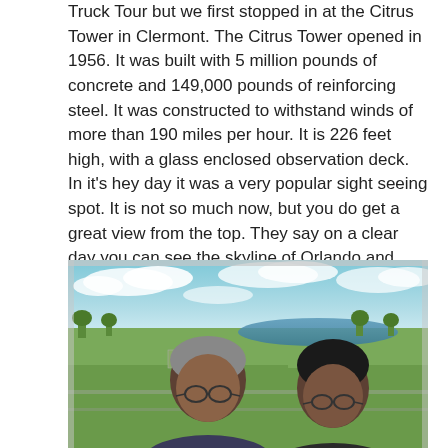Truck Tour but we first stopped in at the Citrus Tower in Clermont. The Citrus Tower opened in 1956. It was built with 5 million pounds of concrete and 149,000 pounds of reinforcing steel. It was constructed to withstand winds of more than 190 miles per hour. It is 226 feet high, with a glass enclosed observation deck. In it's hey day it was a very popular sight seeing spot. It is not so much now, but you do get a great view from the top. They say on a clear day you can see the skyline of Orlando and Disney World. We weren't there on a clear day.
[Figure (photo): Two people posing for a selfie at the top of the Citrus Tower observation deck with a panoramic aerial view of Clermont, Florida in the background showing trees, a lake, and a partly cloudy sky.]